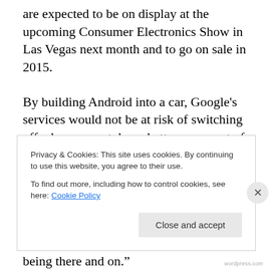are expected to be on display at the upcoming Consumer Electronics Show in Las Vegas next month and to go on sale in 2015.
By building Android into a car, Google's services would not be at risk of switching off when a smartphone battery runs out of power, for example.
“With embedded it’s always on, always there,” said one of the sources, referring to the built-in version of Android Auto. “You don’t have to depend on your phone being there and on.”
Privacy & Cookies: This site uses cookies. By continuing to use this website, you agree to their use.
To find out more, including how to control cookies, see here: Cookie Policy
Close and accept